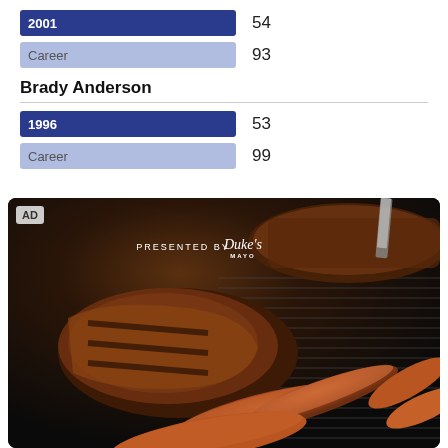2001  54
Career  93
Brady Anderson
1996  53
Career  99
[Figure (photo): Advertisement photo showing grilled meat (brisket/ribs) and sausages on a grill grate, with 'PRESENTED BY Duke's Mayo' text overlay and 'AD' badge]